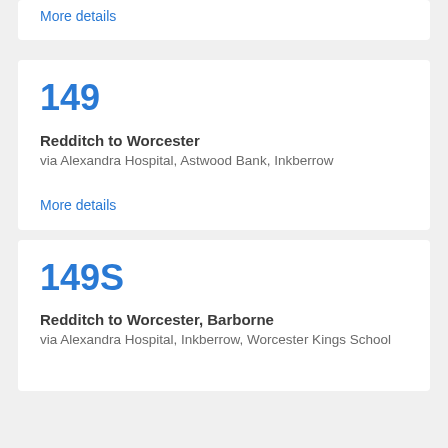More details
149
Redditch to Worcester
via Alexandra Hospital, Astwood Bank, Inkberrow
More details
149S
Redditch to Worcester, Barborne
via Alexandra Hospital, Inkberrow, Worcester Kings School